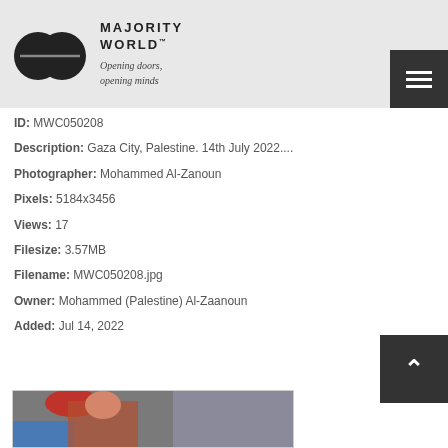[Figure (logo): Majority World logo: two overlapping circles icon with brand name and tagline]
ID: MWC050208
Description: Gaza City, Palestine. 14th July 2022....
Photographer: Mohammed Al-Zanoun
Pixels: 5184x3456
Views: 17
Filesize: 3.57MB
Filename: MWC050208.jpg
Owner: Mohammed (Palestine) Al-Zaanoun
Added: Jul 14, 2022
[Figure (photo): Thumbnail photo showing a person in colorful clothing, partial view]